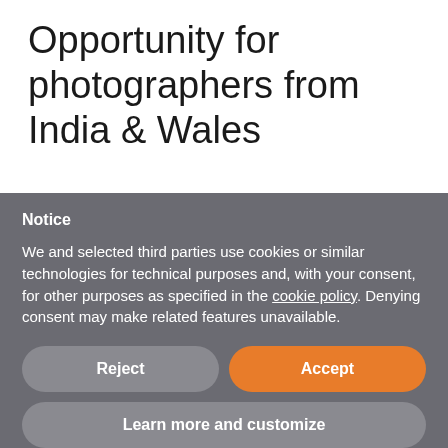Opportunity for photographers from India & Wales
Notice
We and selected third parties use cookies or similar technologies for technical purposes and, with your consent, for other purposes as specified in the cookie policy. Denying consent may make related features unavailable.
Reject
Accept
Learn more and customize